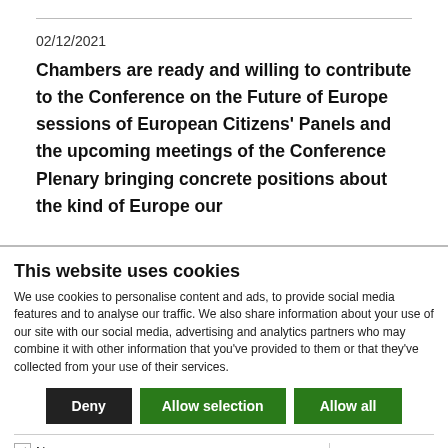02/12/2021
Chambers are ready and willing to contribute to the Conference on the Future of Europe sessions of European Citizens' Panels and the upcoming meetings of the Conference Plenary bringing concrete positions about the kind of Europe our
This website uses cookies
We use cookies to personalise content and ads, to provide social media features and to analyse our traffic. We also share information about your use of our site with our social media, advertising and analytics partners who may combine it with other information that you've provided to them or that they've collected from your use of their services.
Deny | Allow selection | Allow all
Necessary  Preferences  Statistics  Marketing  Show details